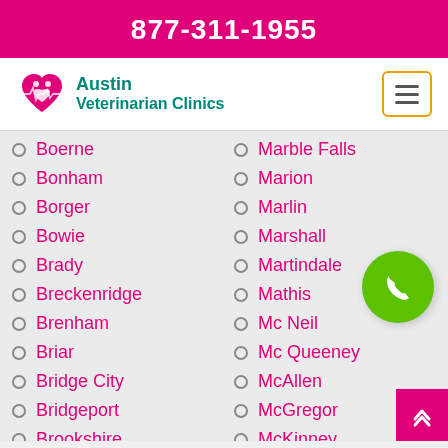877-311-1955
[Figure (logo): Austin Veterinarian Clinics logo with pink heart and paw icon]
Boerne
Bonham
Borger
Bowie
Brady
Breckenridge
Brenham
Briar
Bridge City
Bridgeport
Brookshire
Brownfield
Marble Falls
Marion
Marlin
Marshall
Martindale
Mathis
Mc Neil
Mc Queeney
McAllen
McGregor
McKinney
Meadows Place